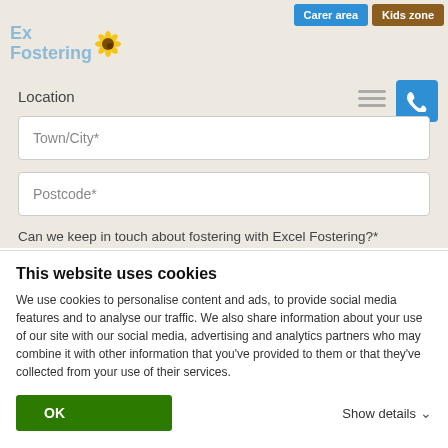[Figure (screenshot): Excel Fostering website header with navigation buttons 'Carer area' (blue) and 'Kids zone' (brown), logo with sunflower icon, phone button, location form fields for Town/City and Postcode, and a keep-in-touch radio question with Yes/No options]
This website uses cookies
We use cookies to personalise content and ads, to provide social media features and to analyse our traffic. We also share information about your use of our site with our social media, advertising and analytics partners who may combine it with other information that you've provided to them or that they've collected from your use of their services.
OK
Show details